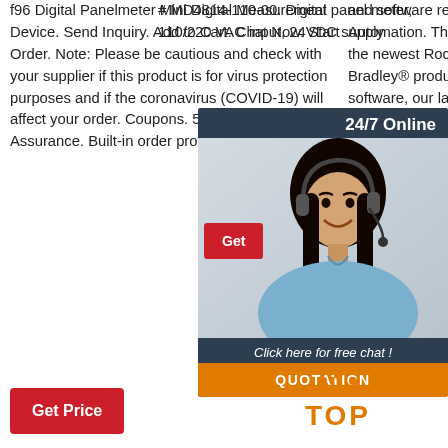f96 Digital Panelmeter Mini Digital Measurement Device. Send Inquiry. Add to Cart. Chat Now. Start Order. Note: Please be cautious and check with your supplier if this product is for virus protection purposes and if the coronavirus (COVID-19) will affect your order. Coupons. 5% OFF. Trade Assurance. Built-in order protection ...
and software releases from Rockwell Automation. This on-demand webinar covers the newest Rockwell Automation and Allen-Bradley® products and FactoryTalk® software, our latest acquisitions and much more.
[Figure (other): Get Price red button]
# MD4814-110-00. Digital panel meter, 110/220 VAC input, 24VDC supply
[Figure (infographic): 24/7 Online chat widget with woman wearing headset, 'Click here for free chat!' text, and QUOTATION orange button]
[Figure (other): Get red button (partial)]
[Figure (logo): TOP button with orange dots and text]